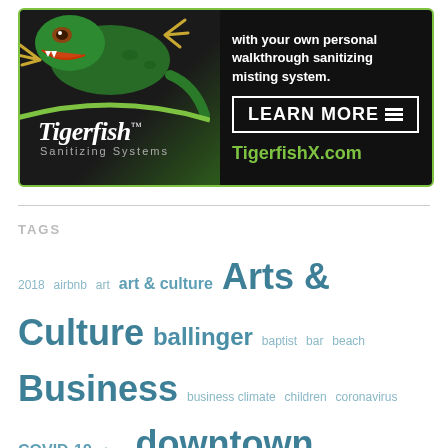[Figure (illustration): Tigerfish Sanitizing Systems advertisement with a green gecko/lizard on dark background. Text reads: 'with your own personal walkthrough sanitizing misting system. LEARN MORE TigerfishX.com']
TAGS
2018 airbnb art art & culture Arts & Culture ballinger baptist bar beach Business business climate children coronavirus COVID-19 dogs downtown downtown crowd downtown pensacola education entertainment escambia Escambia County film florida gulf coast health healthcare history Lifestyle location magazine Military